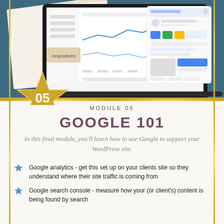[Figure (screenshot): Screenshots of Google Analytics dashboard on a laptop and Google Business Profile on a tablet, arranged decoratively on a teal background with number 05 gold star badge]
MODULE 05
GOOGLE 101
In this final module, you'll learn how to use Google to support your WordPress site.
Google analytics - get this set up on your clients site so they understand where their site traffic is coming from
Google search console - measure how your (or client's) content is being found by search